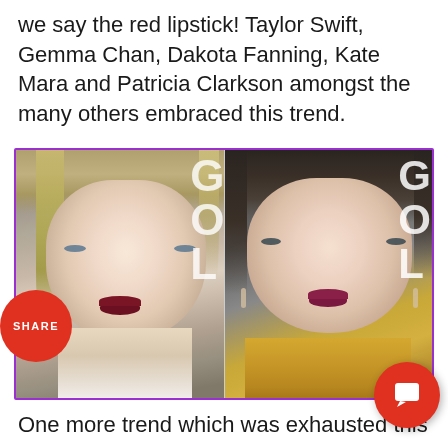we say the red lipstick! Taylor Swift, Gemma Chan, Dakota Fanning, Kate Mara and Patricia Clarkson amongst the many others embraced this trend.
[Figure (photo): Side-by-side photos of two women with red/dark lip makeup. Left: blonde woman with dark red lips. Right: brunette woman with dark pink-red lips. Both appear to be at celebrity events. A red circular SHARE button overlaps the left edge of the photo frame.]
One more trend which was exhausted this